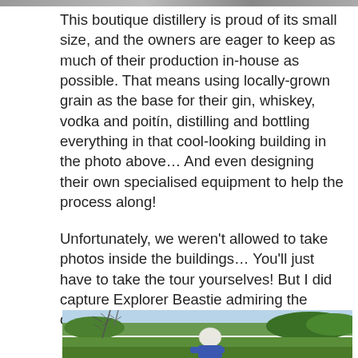[Figure (photo): Top edge of a photograph showing a building exterior]
This boutique distillery is proud of its small size, and the owners are eager to keep as much of their production in-house as possible. That means using locally-grown grain as the base for their gin, whiskey, vodka and poitín, distilling and bottling everything in that cool-looking building in the photo above… And even designing their own specialised equipment to help the process along!
Unfortunately, we weren't allowed to take photos inside the buildings… You'll just have to take the tour yourselves! But I did capture Explorer Beastie admiring the orchard…
[Figure (photo): Outdoor photo showing a small knitted character (Explorer Beastie) with a white head and blue body, viewed from behind, looking out over an orchard with bare branches in the foreground, green trees and a light blue sky in the background]